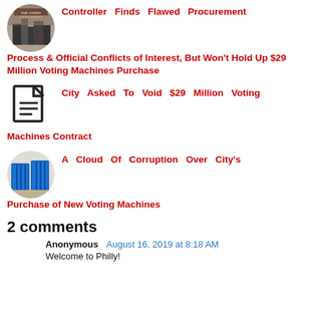[Figure (illustration): Circular book cover thumbnail showing urban scene with text 'THE CITIES' and author name]
Controller Finds Flawed Procurement Process & Official Conflicts of Interest, But Won't Hold Up $29 Million Voting Machines Purchase
[Figure (illustration): Document icon]
City Asked To Void $29 Million Voting Machines Contract
[Figure (photo): Circular photo of blue-covered voting machines]
A Cloud Of Corruption Over City's Purchase of New Voting Machines
2 comments
Anonymous  August 16, 2019 at 8:18 AM
Welcome to Philly!